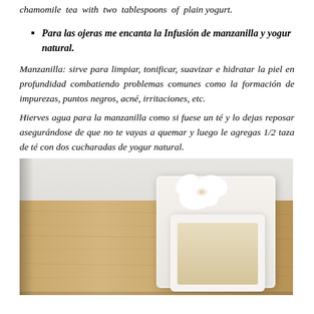chamomile tea with two tablespoons of plain yogurt.
Para las ojeras me encanta la Infusión de manzanilla y yogur natural.
Manzanilla: sirve para limpiar, tonificar, suavizar e hidratar la piel en profundidad combatiendo problemas comunes como la formación de impurezas, puntos negros, acné, irritaciones, etc.
Hierves agua para la manzanilla como si fuese un té y lo dejas reposar asegurándose de que no te vayas a quemar y luego le agregas 1/2 taza de té con dos cucharadas de yogur natural.
[Figure (photo): A white square bowl containing a creamy liquid, placed on a wooden tray with a white orchid flower in the background.]